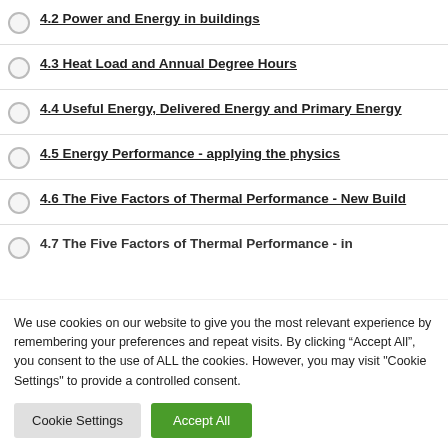4.2 Power and Energy in buildings
4.3 Heat Load and Annual Degree Hours
4.4 Useful Energy, Delivered Energy and Primary Energy
4.5 Energy Performance - applying the physics
4.6 The Five Factors of Thermal Performance - New Build
4.7 The Five Factors of Thermal Performance - in
We use cookies on our website to give you the most relevant experience by remembering your preferences and repeat visits. By clicking “Accept All”, you consent to the use of ALL the cookies. However, you may visit "Cookie Settings" to provide a controlled consent.